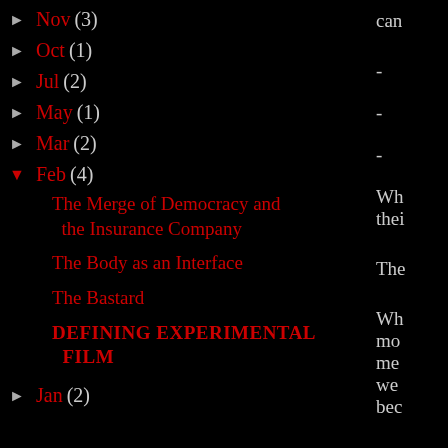► Nov (3)
► Oct (1)
► Jul (2)
► May (1)
► Mar (2)
▼ Feb (4)
The Merge of Democracy and the Insurance Company
The Body as an Interface
The Bastard
DEFINING EXPERIMENTAL FILM
► Jan (2)
can
-
-
-
Whe their
The
Whe mov mea wer beca